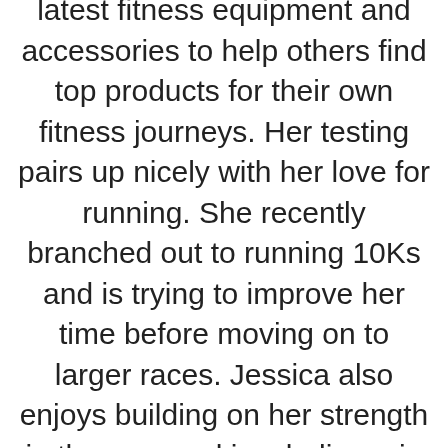latest fitness equipment and accessories to help others find top products for their own fitness journeys. Her testing pairs up nicely with her love for running. She recently branched out to running 10Ks and is trying to improve her time before moving on to larger races. Jessica also enjoys building on her strength in the gym and is a believer in health and wellness beginning in the kitchen. She shares all of this on her running Instagram account @jessrunshere which she uses for accountability and for connecting with